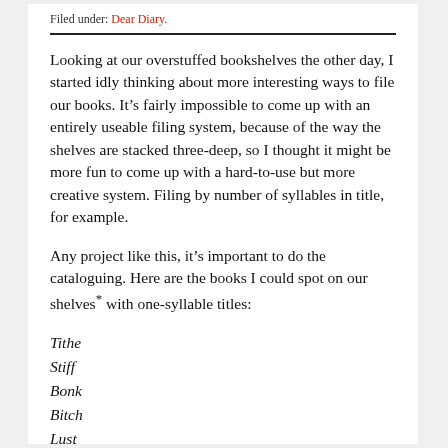Filed under: Dear Diary.
Looking at our overstuffed bookshelves the other day, I started idly thinking about more interesting ways to file our books. It’s fairly impossible to come up with an entirely useable filing system, because of the way the shelves are stacked three-deep, so I thought it might be more fun to come up with a hard-to-use but more creative system. Filing by number of syllables in title, for example.
Any project like this, it’s important to do the cataloguing. Here are the books I could spot on our shelves* with one-syllable titles:
Tithe
Stiff
Bonk
Bitch
Lust
Prime
Fludd